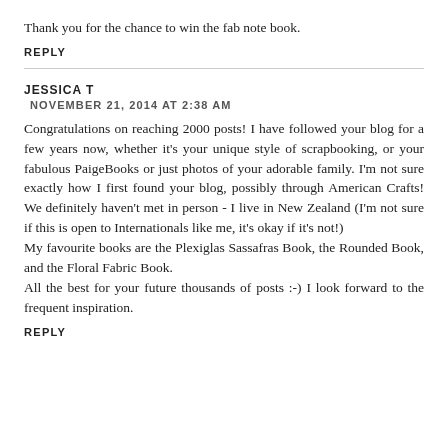Thank you for the chance to win the fab note book.
REPLY
JESSICA T
NOVEMBER 21, 2014 AT 2:38 AM
Congratulations on reaching 2000 posts! I have followed your blog for a few years now, whether it's your unique style of scrapbooking, or your fabulous PaigeBooks or just photos of your adorable family. I'm not sure exactly how I first found your blog, possibly through American Crafts! We definitely haven't met in person - I live in New Zealand (I'm not sure if this is open to Internationals like me, it's okay if it's not!)
My favourite books are the Plexiglas Sassafras Book, the Rounded Book, and the Floral Fabric Book.
All the best for your future thousands of posts :-) I look forward to the frequent inspiration.
REPLY